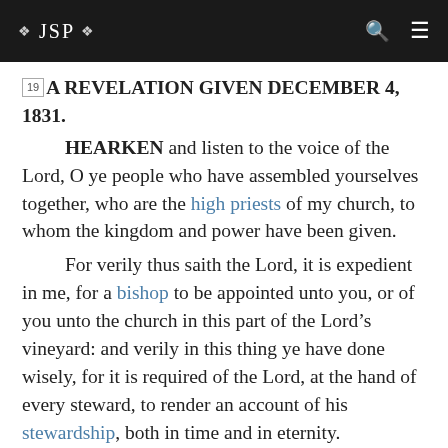❖ JSP ❖
A REVELATION GIVEN DECEMBER 4, 1831.
HEARKEN and listen to the voice of the Lord, O ye people who have assembled yourselves together, who are the high priests of my church, to whom the kingdom and power have been given.

For verily thus saith the Lord, it is expedient in me, for a bishop to be appointed unto you, or of you unto the church in this part of the Lord’s vineyard: and verily in this thing ye have done wisely, for it is required of the Lord, at the hand of every steward, to render an account of his stewardship, both in time and in eternity.

For he who is faithful and wise in time, is accounted worthy to inherit the mansions prepared for them of my Father.

Verily I say unto you, the elders of the church in this